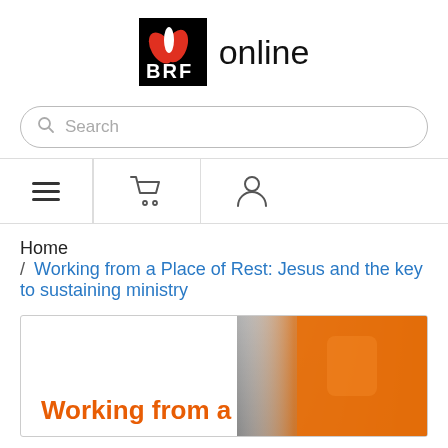[Figure (logo): BRF online logo — black square with red and white leaf icons above the text BRF in white, followed by the word 'online' in black to the right]
Search
[Figure (screenshot): Navigation bar with hamburger menu icon, shopping cart icon, and user/person icon, separated by vertical dividers]
Home / Working from a Place of Rest: Jesus and the key to sustaining ministry
[Figure (photo): Book cover for 'Working from a' — shows person in orange clothing on right side, with orange text on white background on the left]